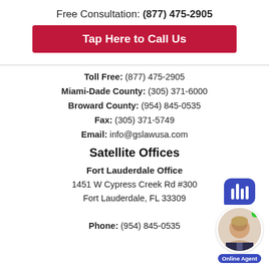Free Consultation: (877) 475-2905
Tap Here to Call Us
Toll Free: (877) 475-2905
Miami-Dade County: (305) 371-6000
Broward County: (954) 845-0535
Fax: (305) 371-5749
Email: info@gslawusa.com
Satellite Offices
Fort Lauderdale Office
1451 W Cypress Creek Rd #300
Fort Lauderdale, FL 33309
Phone: (954) 845-0535